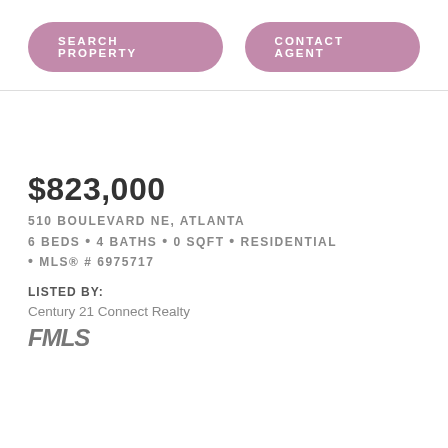SEARCH PROPERTY
CONTACT AGENT
$823,000
510 BOULEVARD NE, ATLANTA
6 BEDS • 4 BATHS • 0 SQFT • RESIDENTIAL
• MLS® # 6975717
LISTED BY:
Century 21 Connect Realty
[Figure (logo): FMLS logo in bold italic gray text]